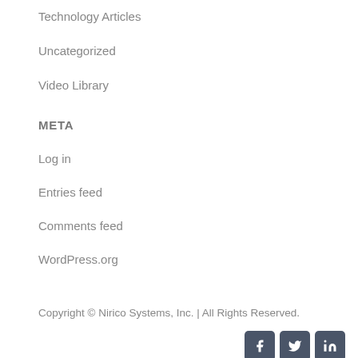Technology Articles
Uncategorized
Video Library
META
Log in
Entries feed
Comments feed
WordPress.org
Copyright © Nirico Systems, Inc. | All Rights Reserved.
[Figure (other): Social media icons: Facebook, Twitter, LinkedIn]